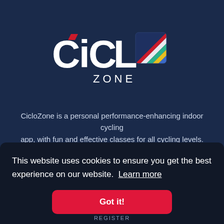[Figure (logo): CicloZone logo: large white bold letters CICLO with a red notch on the C and a multicolored diagonal striped square replacing the O, plus the word ZONE below in white spaced letters]
CicloZone is a personal performance-enhancing indoor cycling app, with fun and effective classes for all cycling levels.
This website uses cookies to ensure you get the best experience on our website.  Learn more
Got it!
REGISTER